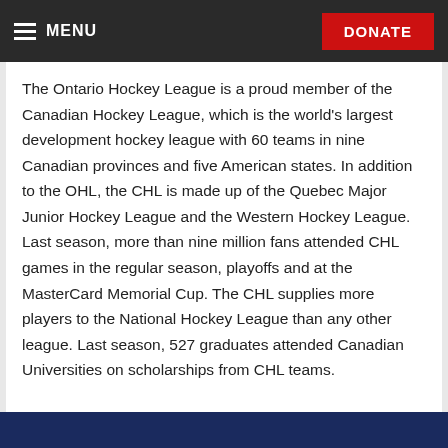MENU | DONATE
The Ontario Hockey League is a proud member of the Canadian Hockey League, which is the world's largest development hockey league with 60 teams in nine Canadian provinces and five American states. In addition to the OHL, the CHL is made up of the Quebec Major Junior Hockey League and the Western Hockey League. Last season, more than nine million fans attended CHL games in the regular season, playoffs and at the MasterCard Memorial Cup. The CHL supplies more players to the National Hockey League than any other league. Last season, 527 graduates attended Canadian Universities on scholarships from CHL teams.